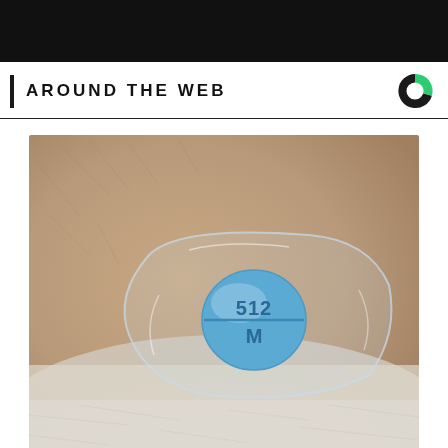[Figure (photo): Black header bar at top of page]
AROUND THE WEB
[Figure (photo): Close-up photograph of a small round blue pill marked '512' on top and 'M' on bottom, inside a clear plastic bag, resting on a white surface. The pill appears to be an oxycodone/acetaminophen tablet.]